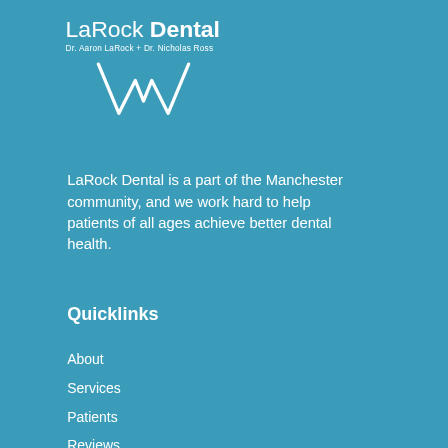[Figure (logo): LaRock Dental logo with text 'LaRock Dental', subtitle 'Dr. Aaron LaRock + Dr. Nicholas Ross', and a stylized W tooth icon below]
LaRock Dental is a part of the Manchester community, and we work hard to help patients of all ages achieve better dental health.
Quicklinks
About
Services
Patients
Reviews
Contact
Contact Info